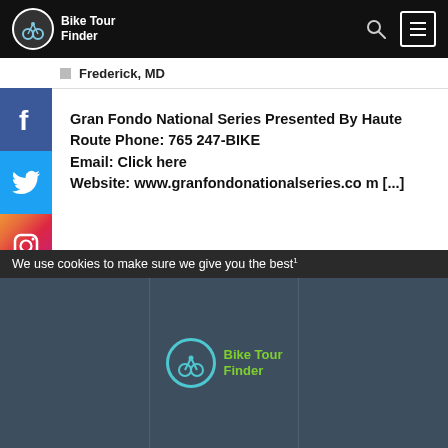Bike Tour Finder
Frederick, MD
Gran Fondo National Series Presented By Haute Route Phone: 765 247-BIKE
Email: Click here
Website: www.granfondonationalseries.com [...]
We use cookies to make sure we give you the best
[Figure (logo): Bike Tour Finder logo in footer on dark background]